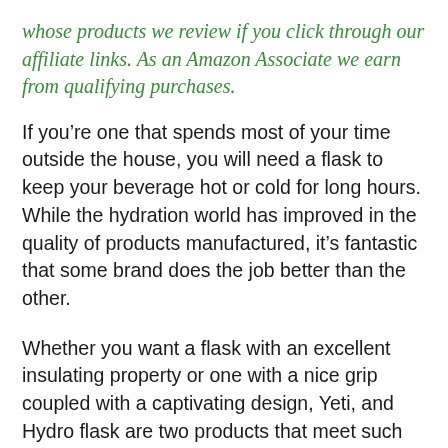whose products we review if you click through our affiliate links. As an Amazon Associate we earn from qualifying purchases.
If you're one that spends most of your time outside the house, you will need a flask to keep your beverage hot or cold for long hours. While the hydration world has improved in the quality of products manufactured, it's fantastic that some brand does the job better than the other.
Whether you want a flask with an excellent insulating property or one with a nice grip coupled with a captivating design, Yeti, and Hydro flask are two products that meet such conditions. Yet! It's inconceivable that one is better than the other than it's a long story for both of them.